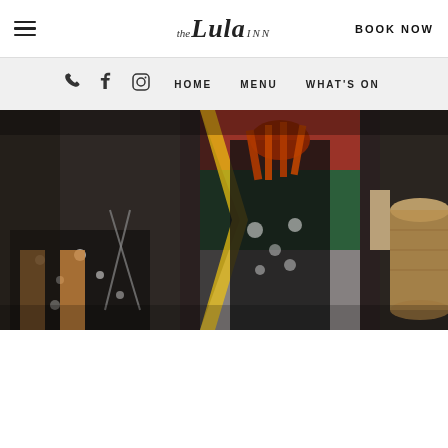The Lula Inn — BOOK NOW
[Figure (screenshot): Website navigation bar with hamburger menu, The Lula Inn logo, BOOK NOW button, phone/facebook/instagram icons, HOME, MENU, WHAT'S ON links]
[Figure (photo): Musicians performing with African drums and patterned clothing, featuring South African flag colors (green, red, white)]